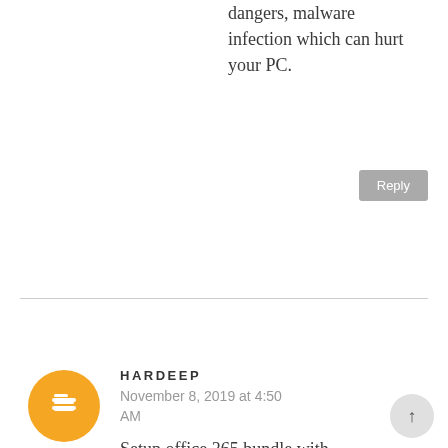dangers, malware infection which can hurt your PC.
HARDEEP
November 8, 2019 at 4:50 AM
Setup office 365 bundle with office.com/setup us. We are the group of specialized experts and give the best specialized assistance